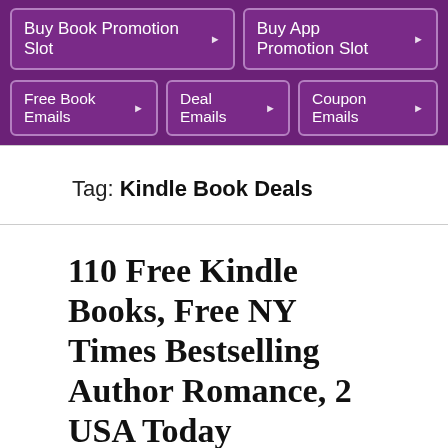Buy Book Promotion Slot | Buy App Promotion Slot
Free Book Emails | Deal Emails | Coupon Emails
Tag: Kindle Book Deals
110 Free Kindle Books, Free NY Times Bestselling Author Romance, 2 USA Today Bestsellers, 30 Kindle Book Deals
Get Books Earlier -> Windows Desktop App, Books Butterfly Instant N